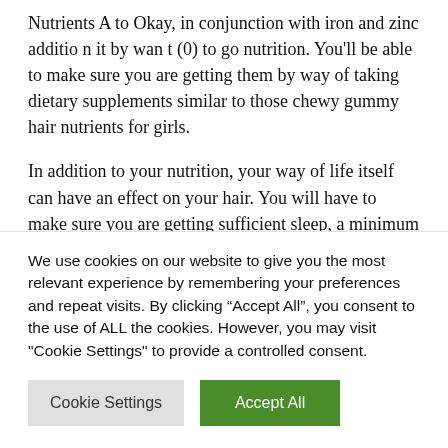Nutrients A to Okay, in conjunction with iron and zinc addition it by want (0) to go nutrition. You'll be able to make sure you are getting them by way of taking dietary supplements similar to those chewy gummy hair nutrients for girls.
In addition to your nutrition, your way of life itself can have an effect on your hair. You will have to make sure you are getting sufficient sleep, a minimum of seven to 9 hours in step with night time. With out it, your frame does no longer have
We use cookies on our website to give you the most relevant experience by remembering your preferences and repeat visits. By clicking "Accept All", you consent to the use of ALL the cookies. However, you may visit "Cookie Settings" to provide a controlled consent.